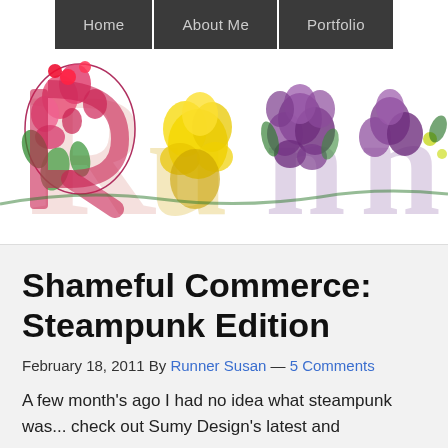Home | About Me | Portfolio
[Figure (logo): Decorative floral letter logo spelling 'Runn...' with botanical illustrated letters in pink, yellow, and purple flowers]
Shameful Commerce: Steampunk Edition
February 18, 2011 By Runner Susan — 5 Comments
A few month's ago I had no idea what steampunk was... check out Sumy Design's latest and